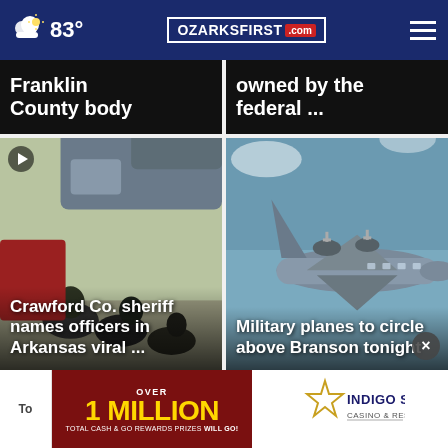83° OZARKSFIRST.com ☰
Franklin County body
owned by the federal ...
[Figure (photo): Police officers on the ground near a vehicle during an incident]
Crawford Co. sheriff names officers in Arkansas viral ...
[Figure (photo): Military cargo plane (C-130 type) flying in the sky]
Military planes to circle above Branson tonight
[Figure (infographic): Casino advertisement: OVER 1 MILLION TOTAL CASH & GO REWARDS PRIZES WILL GO!]
[Figure (logo): Indigo Sky Casino & Resort logo with star graphic]